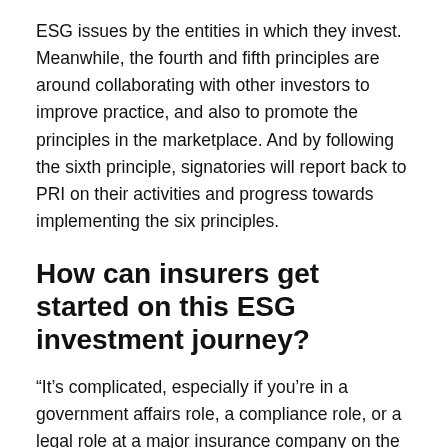ESG issues by the entities in which they invest. Meanwhile, the fourth and fifth principles are around collaborating with other investors to improve practice, and also to promote the principles in the marketplace. And by following the sixth principle, signatories will report back to PRI on their activities and progress towards implementing the six principles.
How can insurers get started on this ESG investment journey?
“It’s complicated, especially if you’re in a government affairs role, a compliance role, or a legal role at a major insurance company on the general account side, and all of